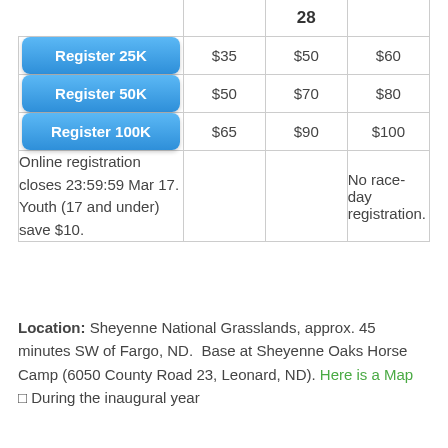| Race | Early | 28 | Late |
| --- | --- | --- | --- |
| Register 25K | $35 | $50 | $60 |
| Register 50K | $50 | $70 | $80 |
| Register 100K | $65 | $90 | $100 |
| Online registration closes 23:59:59 Mar 17. Youth (17 and under) save $10. |  |  | No race-day registration. |
Location: Sheyenne National Grasslands, approx. 45 minutes SW of Fargo, ND.  Base at Sheyenne Oaks Horse Camp (6050 County Road 23, Leonard, ND). Here is a Map. During the inaugural year...